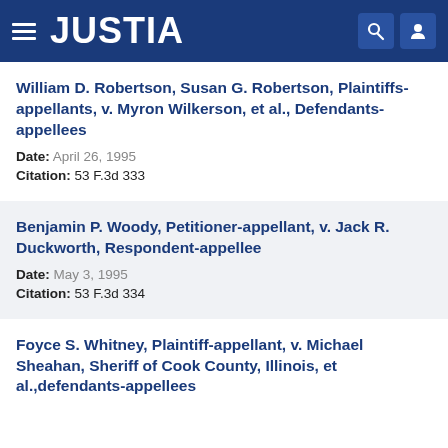JUSTIA
William D. Robertson, Susan G. Robertson, Plaintiffs-appellants, v. Myron Wilkerson, et al., Defendants-appellees
Date: April 26, 1995
Citation: 53 F.3d 333
Benjamin P. Woody, Petitioner-appellant, v. Jack R. Duckworth, Respondent-appellee
Date: May 3, 1995
Citation: 53 F.3d 334
Foyce S. Whitney, Plaintiff-appellant, v. Michael Sheahan, Sheriff of Cook County, Illinois, et al.,defendants-appellees